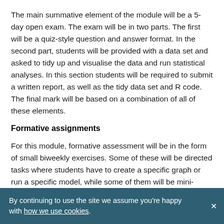The main summative element of the module will be a 5-day open exam. The exam will be in two parts. The first will be a quiz-style question and answer format. In the second part, students will be provided with a data set and asked to tidy up and visualise the data and run statistical analyses. In this section students will be required to submit a written report, as well as the tidy data set and R code. The final mark will be based on a combination of all of these elements.
Formative assignments
For this module, formative assessment will be in the form of small biweekly exercises. Some of these will be directed tasks where students have to create a specific graph or run a specific model, while some of them will be mini-quizzes run through the VLE. Students will be assessed on a number of elements as part of the formative assessment. This will include factual information (quiz-style questions similar to those in summative
By continuing to use the site we assume you're happy with how we use cookies.